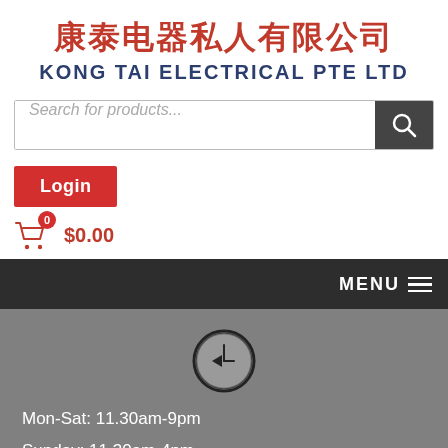康泰电器私人有限公司
KONG TAI ELECTRICAL PTE LTD
Search for products...
Login
$0.00
MENU
[Figure (illustration): Clock/time icon circle with left-pointing chevron inside]
Mon-Sat: 11.30am-9pm
Sunday: 11.30am-4pm
Public Holiday: 11.30am-4pm